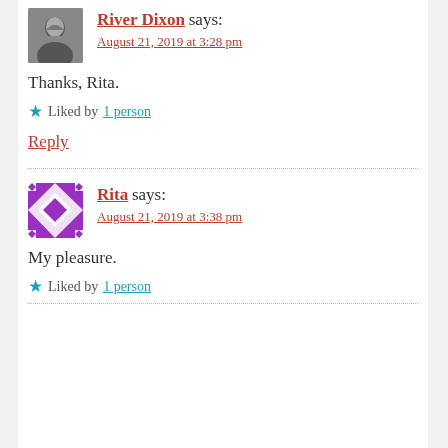[Figure (photo): Avatar photo of River Dixon, black and white photo of a man with beard]
River Dixon says:
August 21, 2019 at 3:28 pm
Thanks, Rita.
Liked by 1 person
Reply
[Figure (illustration): Avatar icon for Rita, purple geometric quilt-like pattern]
Rita says:
August 21, 2019 at 3:38 pm
My pleasure.
Liked by 1 person